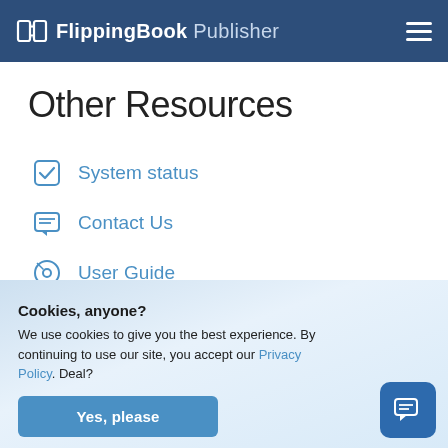FlippingBook Publisher
Other Resources
System status
Contact Us
User Guide
Legacy Products Guide
Cookies, anyone? We use cookies to give you the best experience. By continuing to use our site, you accept our Privacy Policy. Deal?
Yes, please